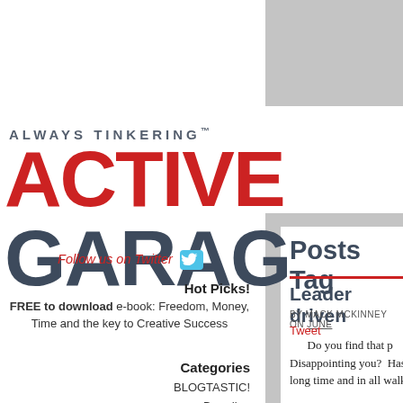ALWAYS TINKERING™
ACTIVE GARAGE
Follow us on Twitter
Hot Picks!
FREE to download e-book: Freedom, Money, Time and the key to Creative Success
Categories
BLOGTASTIC!
Branding
Business Strategy
Posts Tag
Leader driven
BY MACK MCKINNEY ON JUNE
Tweet
Do you find that p Disappointing you?  Has long time and in all walk